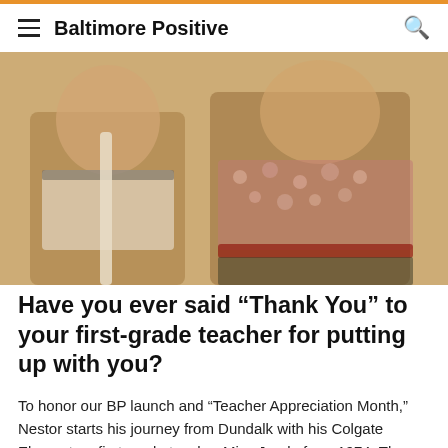Baltimore Positive
[Figure (photo): Vintage photograph of two children, likely from the 1970s. One child on the left wears a white and dark ringer t-shirt and holds a white pole or stick. The child on the right wears a floral patterned short-sleeve shirt and dark shorts with a red belt.]
Have you ever said “Thank You” to your first-grade teacher for putting up with you?
To honor our BP launch and “Teacher Appreciation Month,” Nestor starts his journey from Dundalk with his Colgate Elementary first grade teacher Miss Janda from 1974. They lost touch. And then Don